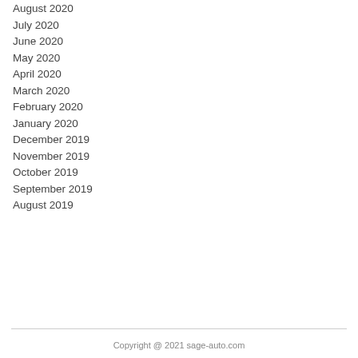August 2020
July 2020
June 2020
May 2020
April 2020
March 2020
February 2020
January 2020
December 2019
November 2019
October 2019
September 2019
August 2019
Copyright @ 2021 sage-auto.com